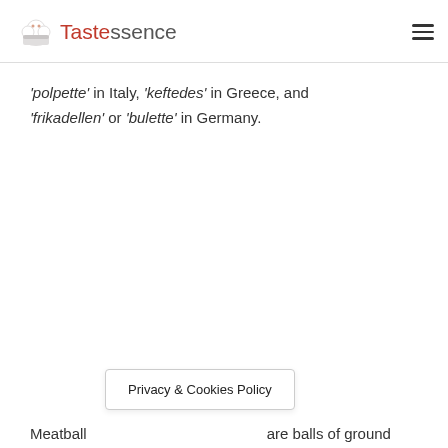Tastessence
‘polpette’ in Italy, ‘keftedes’ in Greece, and ‘frikadellen’ or ‘bulette’ in Germany.
Privacy & Cookies Policy
Meatballs are balls of ground